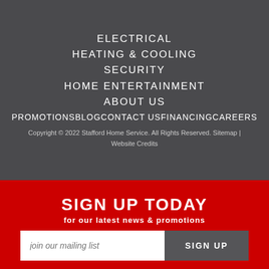ELECTRICAL
HEATING & COOLING
SECURITY
HOME ENTERTAINMENT
ABOUT US
PROMOTIONSBLOGCONTACT USFINANCINGCAREERS
Copyright © 2022 Stafford Home Service. All Rights Reserved. Sitemap | Website Credits
SIGN UP TODAY
for our latest news & promotions